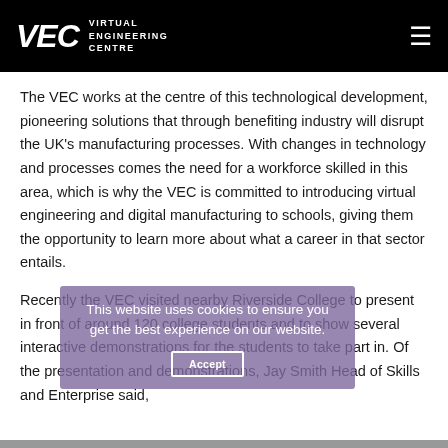VEC VIRTUAL ENGINEERING CENTRE
The VEC works at the centre of this technological development, pioneering solutions that through benefiting industry will disrupt the UK's manufacturing processes. With changes in technology and processes comes the need for a workforce skilled in this area, which is why the VEC is committed to introducing virtual engineering and digital manufacturing to schools, giving them the opportunity to learn more about what a career in that sector entails.
This website uses cookies to ensure you get the best experience on our website.
Recently the VEC visited nearby Riverside College to present in front of around 120 college students and to show several interactive demonstrations for the students to take part in. Of the presentation and demonstrations, Jay Smith Head of Skills and Enterprise said,